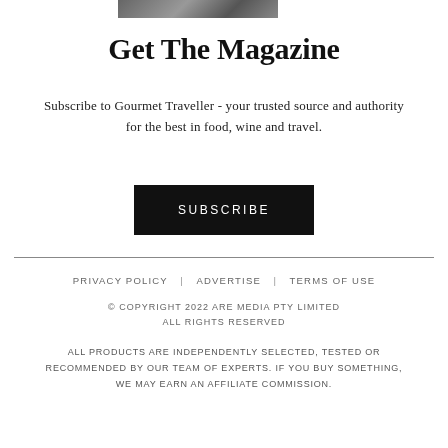[Figure (photo): Partial food/magazine photo strip at top of page]
Get The Magazine
Subscribe to Gourmet Traveller - your trusted source and authority for the best in food, wine and travel.
SUBSCRIBE
PRIVACY POLICY | ADVERTISE | TERMS OF USE
© COPYRIGHT 2022 ARE MEDIA PTY LIMITED ALL RIGHTS RESERVED
ALL PRODUCTS ARE INDEPENDENTLY SELECTED, TESTED OR RECOMMENDED BY OUR TEAM OF EXPERTS. IF YOU BUY SOMETHING, WE MAY EARN AN AFFILIATE COMMISSION.